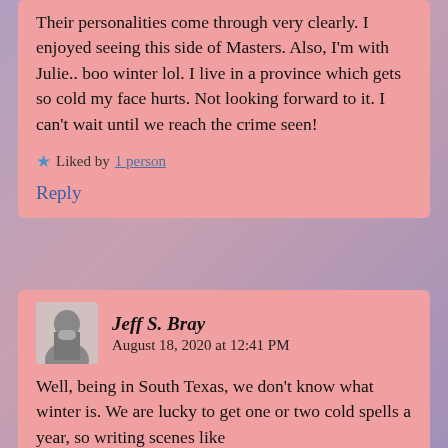Their personalities come through very clearly. I enjoyed seeing this side of Masters. Also, I'm with Julie.. boo winter lol. I live in a province which gets so cold my face hurts. Not looking forward to it. I can't wait until we reach the crime seen!
★ Liked by 1 person
Reply
Jeff S. Bray   August 18, 2020 at 12:41 PM
Well, being in South Texas, we don't know what winter is. We are lucky to get one or two cold spells a year, so writing scenes like